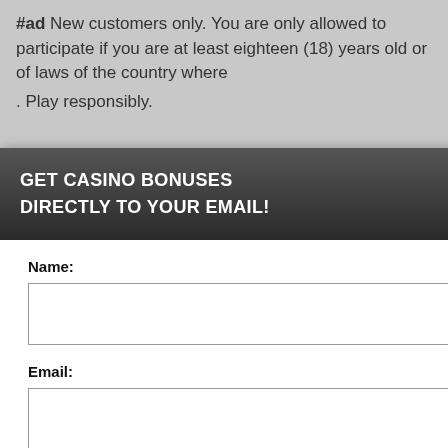#ad New customers only. You are only allowed to participate if you are at least eighteen (18) years old or of legal age as determined by the laws of the country where You live (whichever is higher). Play responsibly.
[Figure (screenshot): Partial view of a deposit bonus link and casino promotional content behind popup]
GET CASINO BONUSES DIRECTLY TO YOUR EMAIL!
Name:
Email:
Submit
By subscribing you are certifying that you have reviewed and accepted our updated Privacy and Cookie policy.
...perience, we use ...Using this site, ...kie & privacy policy.